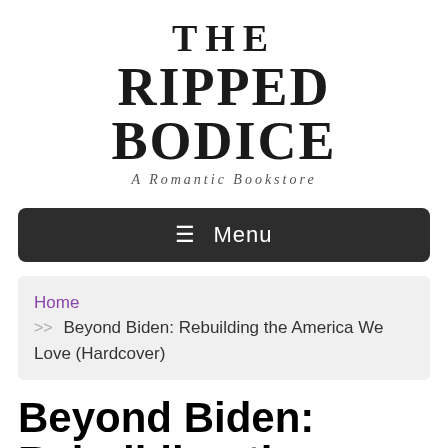THE RIPPED BODICE — A Romantic Bookstore
≡ Menu
Home >> Beyond Biden: Rebuilding the America We Love (Hardcover)
Beyond Biden: Rebuilding the America